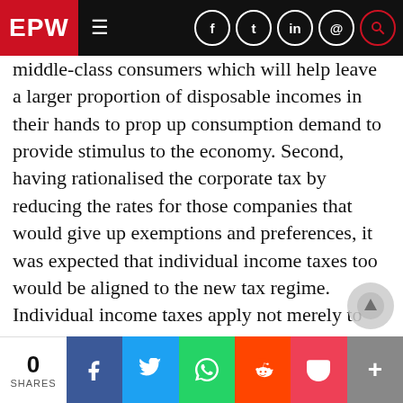EPW navigation bar with logo and social icons
middle-class consumers which will help leave a larger proportion of disposable incomes in their hands to prop up consumption demand to provide stimulus to the economy. Second, having rationalised the corporate tax by reducing the rates for those companies that would give up exemptions and preferences, it was expected that individual income taxes too would be aligned to the new tax regime. Individual income taxes apply not merely to individuals, but also to Hindu Undivided Families, Association of Persons and non-corporate businesses. Aligning them to the new corporate tax regime is important to avoid
0 SHARES | Facebook | Twitter | WhatsApp | Reddit | Pocket | More